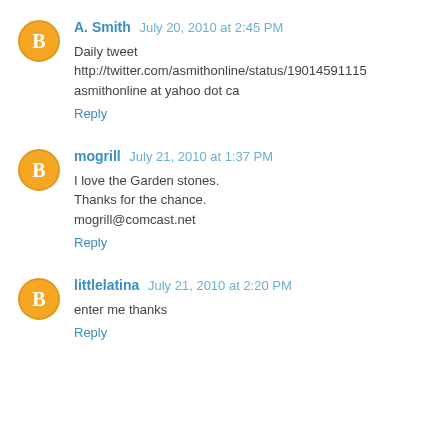A. Smith July 20, 2010 at 2:45 PM
Daily tweet
http://twitter.com/asmithonline/status/19014591115
asmithonline at yahoo dot ca
Reply
mogrill July 21, 2010 at 1:37 PM
I love the Garden stones.
Thanks for the chance.
mogrill@comcast.net
Reply
littlelatina July 21, 2010 at 2:20 PM
enter me thanks
Reply